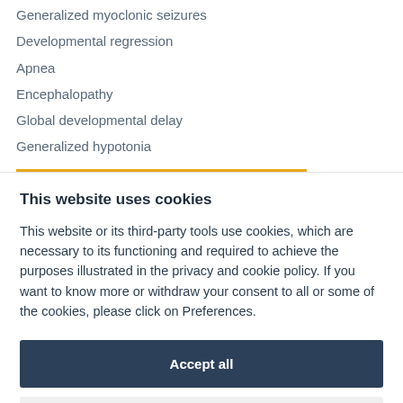Generalized myoclonic seizures
Developmental regression
Apnea
Encephalopathy
Global developmental delay
Generalized hypotonia
This website uses cookies
This website or its third-party tools use cookies, which are necessary to its functioning and required to achieve the purposes illustrated in the privacy and cookie policy. If you want to know more or withdraw your consent to all or some of the cookies, please click on Preferences.
Accept all
Preferences